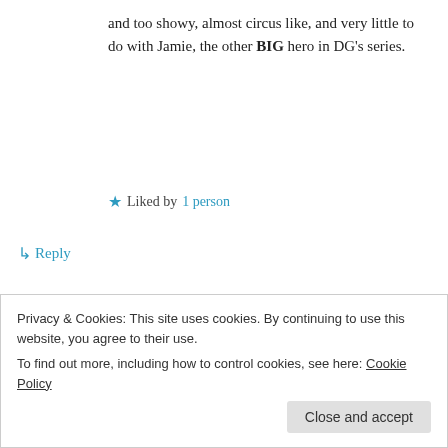and too showy, almost circus like, and very little to do with Jamie, the other BIG hero in DG's series.
★ Liked by 1 person
↳ Reply
Pst on 17/04/2016 at 7:37 pm
I agree, Cindy. Totally out of sync.
Absolutely need more Jamie, the loving
Privacy & Cookies: This site uses cookies. By continuing to use this website, you agree to their use.
To find out more, including how to control cookies, see here: Cookie Policy
Close and accept